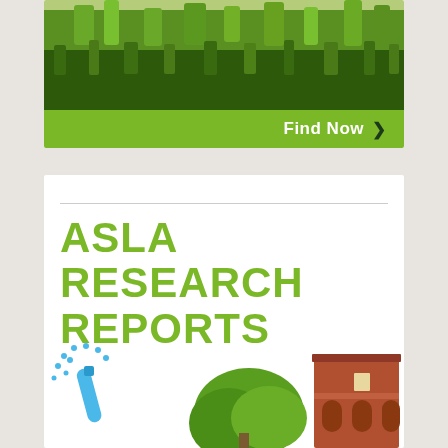[Figure (photo): Green grass field/meadow photograph filling top card image area]
[Figure (illustration): Green button bar with 'Find Now >' text on green background]
[Figure (illustration): ASLA Research Reports card with green title text and illustration of rain/test tube, tree, and brick building at bottom]